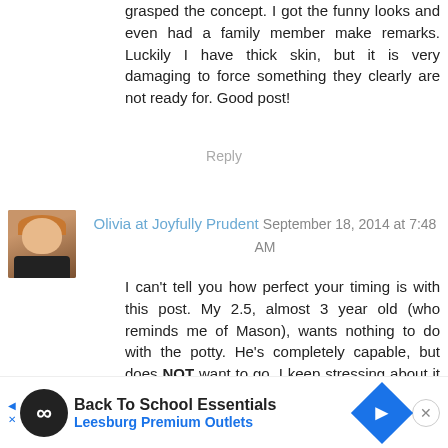grasped the concept. I got the funny looks and even had a family member make remarks. Luckily I have thick skin, but it is very damaging to force something they clearly are not ready for. Good post!
Reply
[Figure (photo): Avatar photo of Olivia, a woman with reddish-brown hair wearing a dark top]
Olivia at Joyfully Prudent September 18, 2014 at 7:48 AM
I can't tell you how perfect your timing is with this post. My 2.5, almost 3 year old (who reminds me of Mason), wants nothing to do with the potty. He's completely capable, but does NOT want to go. I keep stressing about it and of course feel pressure when other mom's kids are fully trained by this time. Thanks for sharing.
Reply
Anonymous September 18, 2014 at 7:55 AM
Back To School Essentials Leesburg Premium Outlets